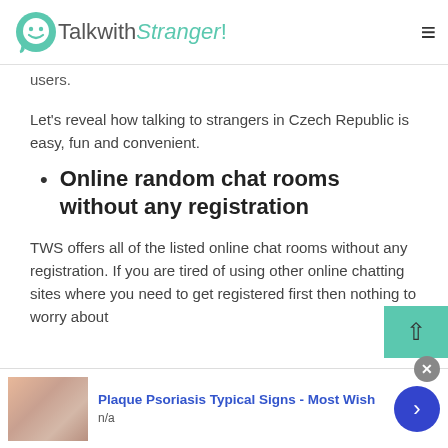TalkwithStranger!
users.
Let's reveal how talking to strangers in Czech Republic is easy, fun and convenient.
Online random chat rooms without any registration
TWS offers all of the listed online chat rooms without any registration. If you are tired of using other online chatting sites where you need to get registered first then nothing to worry about
[Figure (infographic): Advertisement banner: Plaque Psoriasis Typical Signs - Most Wish, with a skin image and navigation arrow]